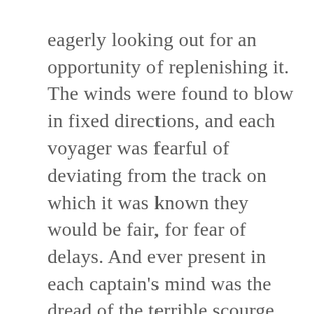eagerly looking out for an opportunity of replenishing it. The winds were found to blow in fixed directions, and each voyager was fearful of deviating from the track on which it was known they would be fair, for fear of delays. And ever present in each captain's mind was the dread of the terrible scourge, scurvy. Every expedition suffered from it. Each hoped they would be exempt, and each in turn was reduced to impotence from its effects.
It was the great consideration for every leader of a protracted expedition, How